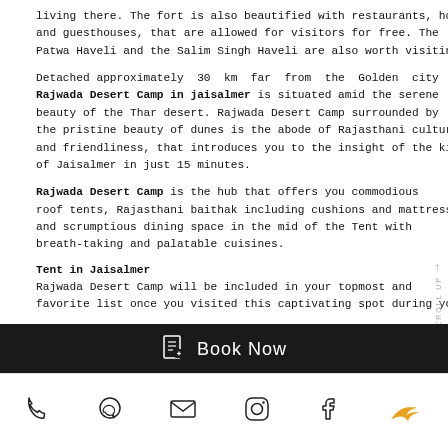living there. The fort is also beautified with restaurants, hotels, and guesthouses, that are allowed for visitors for free. The Patwa Haveli and the Salim Singh Haveli are also worth visiting.
Detached approximately 30 km far from the Golden city Rajwada Desert Camp in jaisalmer is situated amid the serene beauty of the Thar desert. Rajwada Desert Camp surrounded by the pristine beauty of dunes is the abode of Rajasthani culture and friendliness, that introduces you to the insight of the kings of Jaisalmer in just 15 minutes.
Rajwada Desert Camp is the hub that offers you commodious roof tents, Rajasthani baithak including cushions and mattress, and scrumptious dining space in the mid of the Tent with breath-taking and palatable cuisines.
Tent in Jaisalmer
Rajwada Desert Camp will be included in your topmost and favorite list once you visited this captivating spot during your
[Figure (other): Book Now button bar with document icon]
Footer navigation icons: phone, WhatsApp, email, Instagram, Facebook, bird/logo